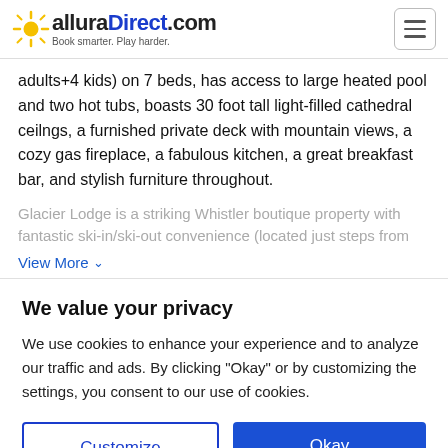alluraDirect.com — Book smarter. Play harder.
adults+4 kids) on 7 beds, has access to large heated pool and two hot tubs, boasts 30 foot tall light-filled cathedral ceilngs, a furnished private deck with mountain views, a cozy gas fireplace, a fabulous kitchen, a great breakfast bar, and stylish furniture throughout.
Glacier Lodge is a striking Whistler boutique property with fantastic ski-in/ski-out convenience (located just steps from
View More ∨
We value your privacy
We use cookies to enhance your experience and to analyze our traffic and ads. By clicking "Okay" or by customizing the settings, you consent to our use of cookies.
Customize | Okay